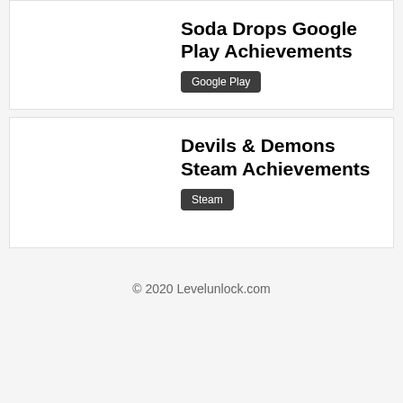Soda Drops Google Play Achievements
Google Play
Devils & Demons Steam Achievements
Steam
© 2020 Levelunlock.com